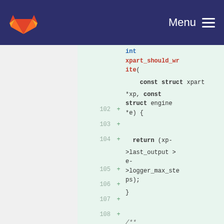GitLab — Menu
[Figure (screenshot): Code diff view showing C function xpart_should_write with line numbers 102-108 and green highlighted additions]
int xpart_should_write(
    const struct xpart *xp, const struct engine *e) {

    return (xp->last_output > e->logger_max_steps);
}

/**
 * @brief Should this particle write